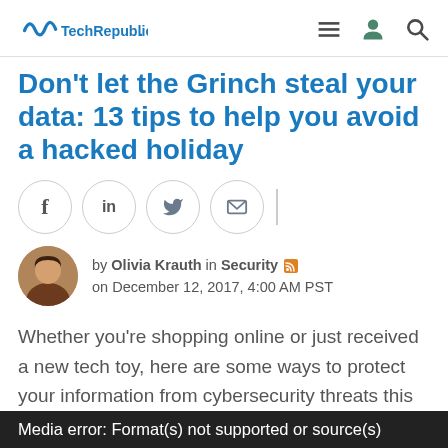TechRepublic.
Don't let the Grinch steal your data: 13 tips to help you avoid a hacked holiday
[Figure (other): Social share buttons: Facebook (f), LinkedIn (in), Twitter bird icon, Email envelope icon, followed by a vertical divider]
by Olivia Krauth in Security on December 12, 2017, 4:00 AM PST
Whether you're shopping online or just received a new tech toy, here are some ways to protect your information from cybersecurity threats this holiday season.
Media error: Format(s) not supported or source(s)